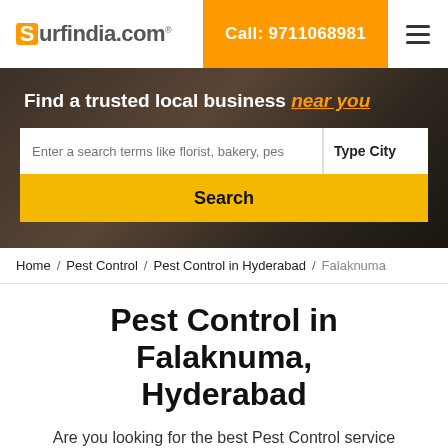surfindia.com | Call: 9711068981
Find a trusted local business near you
Enter a search terms like florist, bakery, pes | Type City | Search
Home / Pest Control / Pest Control in Hyderabad / Falaknuma
Pest Control in Falaknuma, Hyderabad
Are you looking for the best Pest Control service